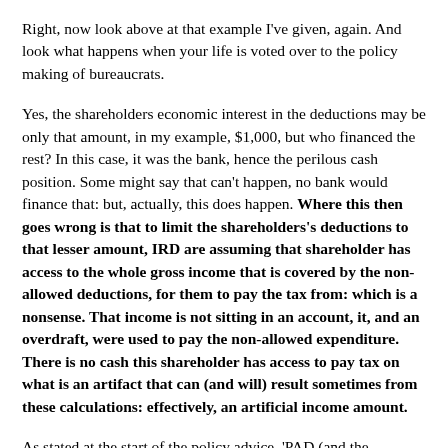Right, now look above at that example I've given, again. And look what happens when your life is voted over to the policy making of bureaucrats.
Yes, the shareholders economic interest in the deductions may be only that amount, in my example, $1,000, but who financed the rest? In this case, it was the bank, hence the perilous cash position. Some might say that can't happen, no bank would finance that: but, actually, this does happen. Where this then goes wrong is that to limit the shareholders's deductions to that lesser amount, IRD are assuming that shareholder has access to the whole gross income that is covered by the non-allowed deductions, for them to pay the tax from: which is a nonsense. That income is not sitting in an account, it, and an overdraft, were used to pay the non-allowed expenditure. There is no cash this shareholder has access to pay tax on what is an artifact that can (and will) result sometimes from these calculations: effectively, an artificial income amount.
As stated at the start of the policy advice, 'PAD (and the minister) are fully aware of the issues raised' – well in that case, I question